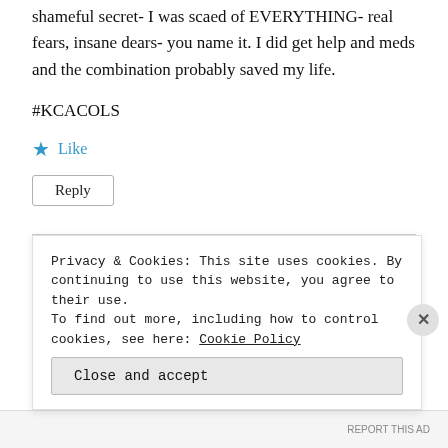shameful secret- I was scaed of EVERYTHING- real fears, insane dears- you name it. I did get help and meds and the combination probably saved my life.
#KCACOLS
★ Like
Reply
The Mum Reviews 👤
Privacy & Cookies: This site uses cookies. By continuing to use this website, you agree to their use.
To find out more, including how to control cookies, see here: Cookie Policy
Close and accept
REPORT THIS AD